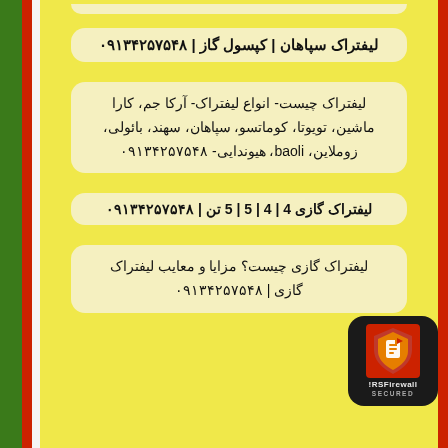لیفتراک سپاهان | کپسول گاز | ۰۹۱۳۴۲۵۷۵۴۸
لیفتراک چیست- انواع لیفتراک- آرکا جم، کارا ماشین، تویوتا، کوماتسو، سپاهان، سهند، بائولی، زوملاین، baoli، هیوندایی- ۰۹۱۳۴۲۵۷۵۴۸
لیفتراک گازی 4 | 4 | 5 | 5 تن | ۰۹۱۳۴۲۵۷۵۴۸
لیفتراک گازی چیست؟ مزایا و معایب لیفتراک گازی | ۰۹۱۳۴۲۵۷۵۴۸
[Figure (logo): RSFirewall SECURED badge - black rounded square with shield icon and text RSFirewall SECURED]